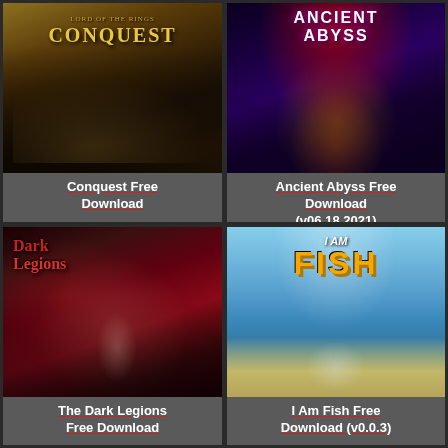[Figure (screenshot): Lord of the Rings Conquest game cover art showing armored warriors in battle]
Conquest Free Download
[Figure (screenshot): Ancient Abyss game cover art showing dark mystical figure on red and purple background]
Ancient Abyss Free Download (v06.18.2021)
[Figure (screenshot): Dark Legions game cover art showing fantasy warriors with red title text]
The Dark Legions Free Download
[Figure (screenshot): I Am Fish game cover art showing orange fish in a bowl on blue sky background]
I Am Fish Free Download (v0.0.3)